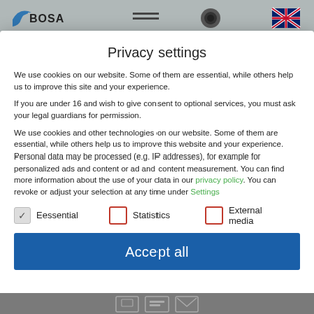[Figure (screenshot): Website header bar with BOSA logo, navigation icons, and UK flag icon, partially visible behind modal overlay]
Privacy settings
We use cookies on our website. Some of them are essential, while others help us to improve this site and your experience.
If you are under 16 and wish to give consent to optional services, you must ask your legal guardians for permission.
We use cookies and other technologies on our website. Some of them are essential, while others help us to improve this website and your experience. Personal data may be processed (e.g. IP addresses), for example for personalized ads and content or ad and content measurement. You can find more information about the use of your data in our privacy policy. You can revoke or adjust your selection at any time under Settings.
Eessential  Statistics  External media
Accept all